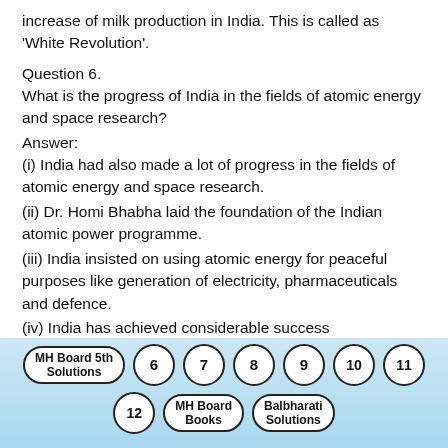increase of milk production in India. This is called as 'White Revolution'.
Question 6.
What is the progress of India in the fields of atomic energy and space research?
Answer:
(i) India had also made a lot of progress in the fields of atomic energy and space research.
(ii) Dr. Homi Bhabha laid the foundation of the Indian atomic power programme.
(iii) India insisted on using atomic energy for peaceful purposes like generation of electricity, pharmaceuticals and defence.
(iv) India has achieved considerable success
MH Board 5th Solutions  6  7  8  9  10  11  12  MH Board Books  Balbharati Solutions